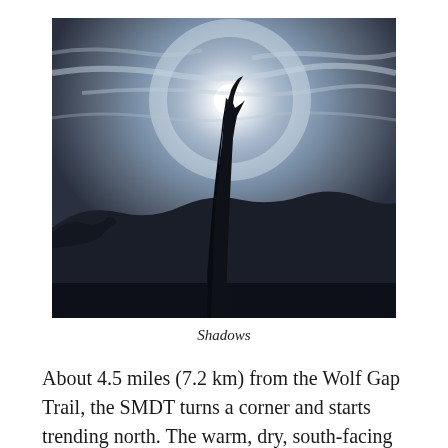[Figure (photo): Silhouette of a tall broken tree trunk against a bright sun with a solar halo, cirrus clouds, and dark mountain ridgeline below. Dramatic backlit outdoor landscape photograph. Titled 'Shadows'.]
Shadows
About 4.5 miles (7.2 km) from the Wolf Gap Trail, the SMDT turns a corner and starts trending north. The warm, dry, south-facing